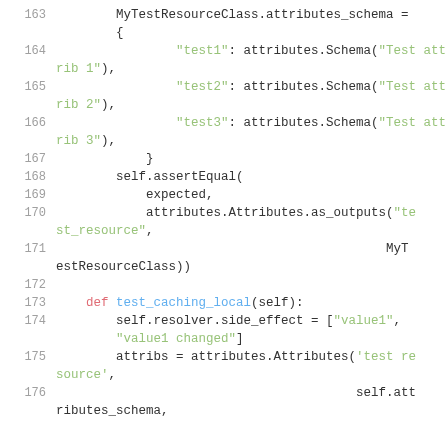[Figure (screenshot): Code snippet showing Python test code lines 163–176 with syntax highlighting. Line numbers in grey on left, keywords in red/blue, strings in green.]